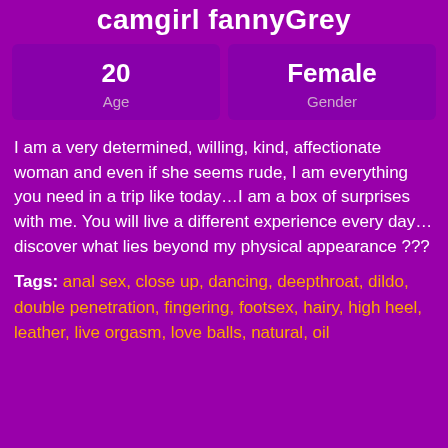camgirl fannyGrey
| Age | Gender |
| --- | --- |
| 20 | Female |
I am a very determined, willing, kind, affectionate woman and even if she seems rude, I am everything you need in a trip like today…I am a box of surprises with me. You will live a different experience every day…discover what lies beyond my physical appearance ???
Tags: anal sex, close up, dancing, deepthroat, dildo, double penetration, fingering, footsex, hairy, high heel, leather, live orgasm, love balls, natural, oil